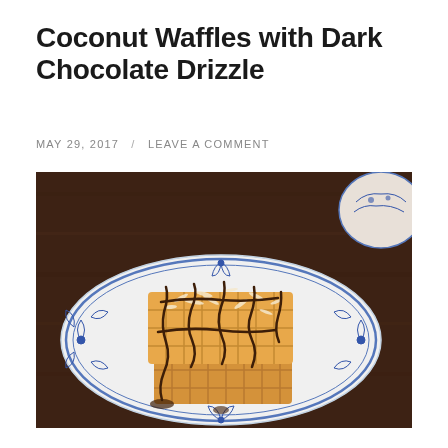Coconut Waffles with Dark Chocolate Drizzle
MAY 29, 2017 / LEAVE A COMMENT
[Figure (photo): A stack of golden Belgian waffles topped with dark chocolate drizzle and shredded coconut, served on a white blue-patterned decorative plate on a dark wooden table. A blue and white decorative cup is visible in the upper right corner.]